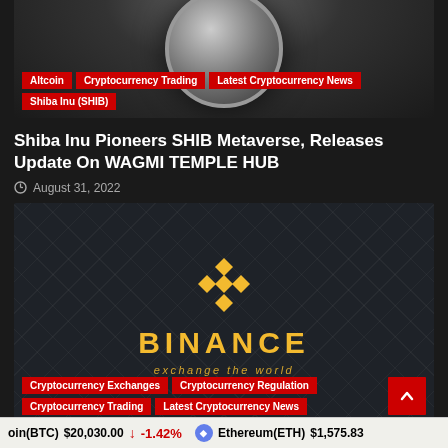[Figure (photo): Top portion of a coin/currency image against dark background with category tags overlaid]
Altcoin
Cryptocurrency Trading
Latest Cryptocurrency News
Shiba Inu (SHIB)
Shiba Inu Pioneers SHIB Metaverse, Releases Update On WAGMI TEMPLE HUB
August 31, 2022
[Figure (logo): Binance exchange logo — yellow diamond/chevron icon above BINANCE text and 'exchange the world' tagline on dark geometric grid background]
Cryptocurrency Exchanges
Cryptocurrency Regulation
Cryptocurrency Trading
Latest Cryptocurrency News
Bitcoin(BTC) $20,030.00 ↓ -1.42% Ethereum(ETH) $1,575.83